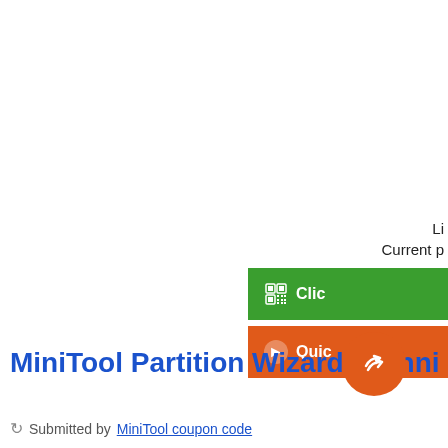Li
Current p
Clic
Quic
MiniTool Partition Wizard Technician Life
Submitted by MiniTool coupon code